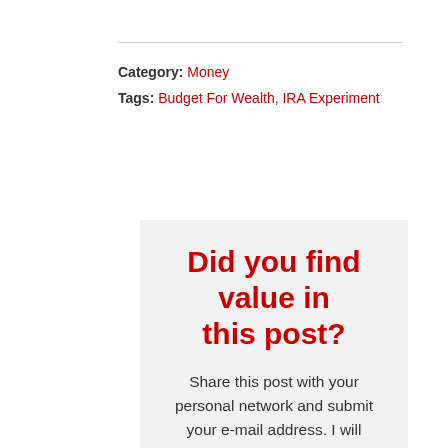Category: Money
Tags: Budget For Wealth, IRA Experiment
Did you find value in this post?
Share this post with your personal network and submit your e-mail address. I will probably never send you anything.